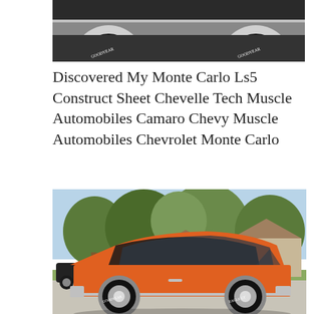[Figure (photo): Close-up cropped photo of the front/top of a classic muscle car, showing the hood and chrome wheel, white background, partial view]
Discovered My Monte Carlo Ls5 Construct Sheet Chevelle Tech Muscle Automobiles Camaro Chevy Muscle Automobiles Chevrolet Monte Carlo
[Figure (photo): Orange and black 1970s Chevrolet Monte Carlo classic muscle car parked on a suburban driveway, photographed from the side in bright daylight with trees and houses in the background]